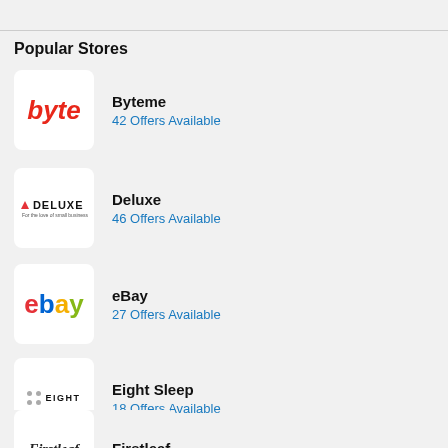Popular Stores
Byteme — 42 Offers Available
Deluxe — 46 Offers Available
eBay — 27 Offers Available
Eight Sleep — 18 Offers Available
Firstleaf